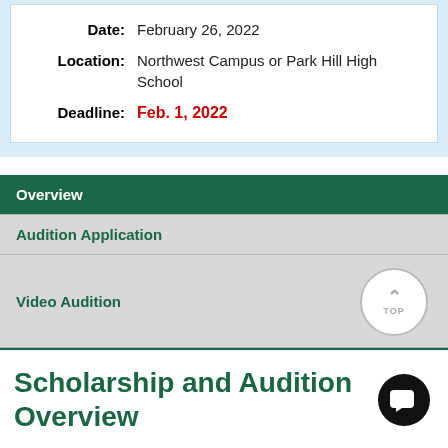Date: February 26, 2022
Location: Northwest Campus or Park Hill High School
Deadline: Feb. 1, 2022
Overview
Audition Application
Video Audition
Scholarship and Audition Overview